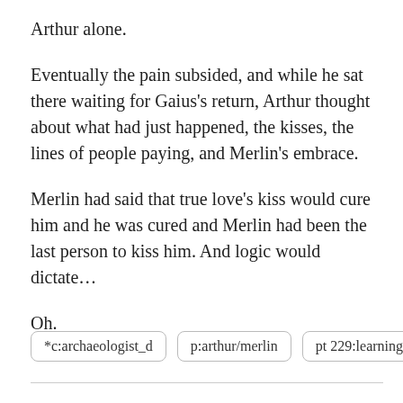Arthur alone.
Eventually the pain subsided, and while he sat there waiting for Gaius's return, Arthur thought about what had just happened, the kisses, the lines of people paying, and Merlin's embrace.
Merlin had said that true love's kiss would cure him and he was cured and Merlin had been the last person to kiss him. And logic would dictate…
Oh.
*c:archaeologist_d
p:arthur/merlin
pt 229:learning